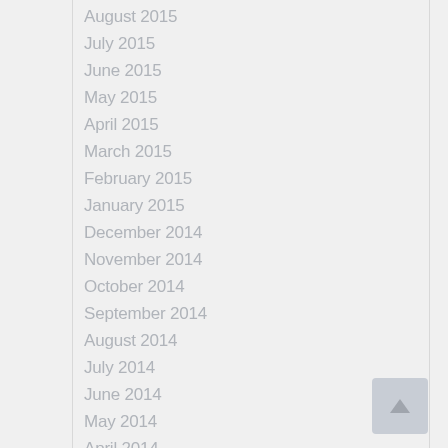August 2015
July 2015
June 2015
May 2015
April 2015
March 2015
February 2015
January 2015
December 2014
November 2014
October 2014
September 2014
August 2014
July 2014
June 2014
May 2014
April 2014
March 2014
February 2014
January 2014
December 2013
November 2013
October 2013